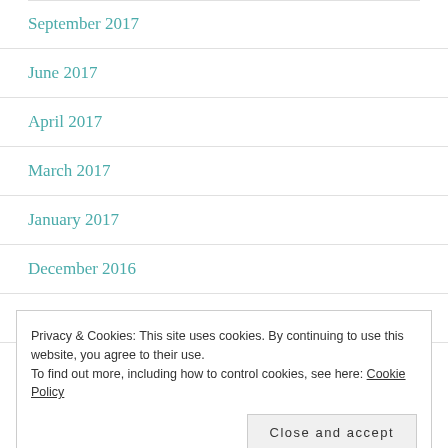September 2017
June 2017
April 2017
March 2017
January 2017
December 2016
November 2016
Privacy & Cookies: This site uses cookies. By continuing to use this website, you agree to their use.
To find out more, including how to control cookies, see here: Cookie Policy
August 2016